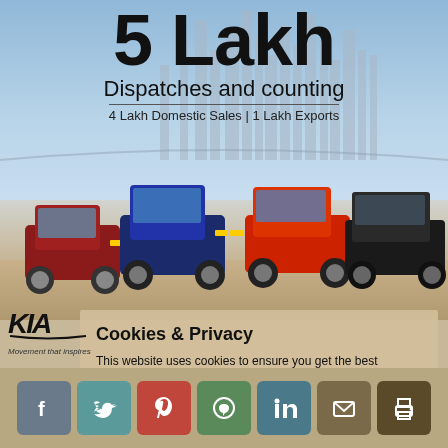5 Lakh
Dispatches and counting
4 Lakh Domestic Sales | 1 Lakh Exports
[Figure (photo): Four Kia SUV/MPV cars (red, blue, red-black, dark/black) parked in front of a city skyline background]
Cookies & Privacy
This website uses cookies to ensure you get the best experience on our website.
See privacy policy
Accept
[Figure (logo): Kia logo with tagline Movement that inspires]
[Figure (infographic): Social sharing icons: Facebook, Twitter, Pinterest, WhatsApp, LinkedIn, Email, Print]